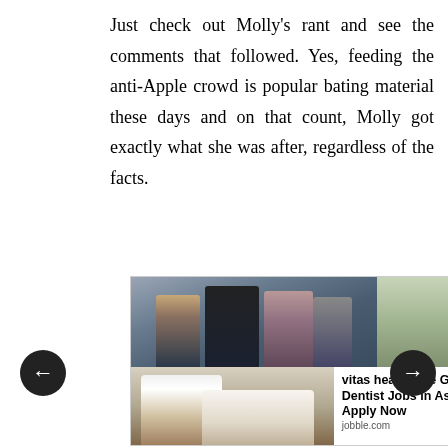Just check out Molly's rant and see the comments that followed. Yes, feeding the anti-Apple crowd is popular bating material these days and on that count, Molly got exactly what she was after, regardless of the facts.
[Figure (photo): Advertisement showing two photos: top photo of people in masks walking (political figures), bottom-left photo of a dentist with a child patient, bottom-right ad text reading 'vitas healthcare General Dentist Jobs in Ashburn Apply Now' from jobble.com]